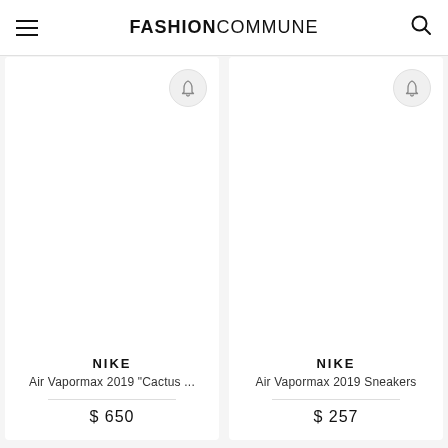FASHIONCOMMUNE
[Figure (other): Product card: Nike Air Vapormax 2019 Cactus... $650 with bell/notification icon]
[Figure (other): Product card: Nike Air Vapormax 2019 Sneakers $257 with bell/notification icon]